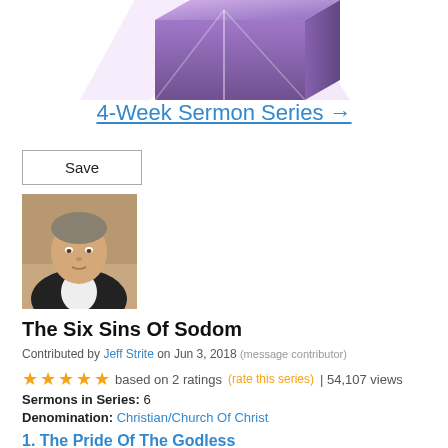[Figure (illustration): A 3D box/book with purple and pink gradient rays emanating from the top, partially cropped at top of page]
4-Week Sermon Series →
Save
[Figure (photo): Portrait photo of a middle-aged man with gray-brown hair wearing a dark blazer and white shirt]
The Six Sins Of Sodom
Contributed by Jeff Strite on Jun 3, 2018 (message contributor)
★★★★★ based on 2 ratings (rate this series) | 54,107 views
Sermons in Series: 6
Denomination: Christian/Church Of Christ
1. The Pride Of The Godless